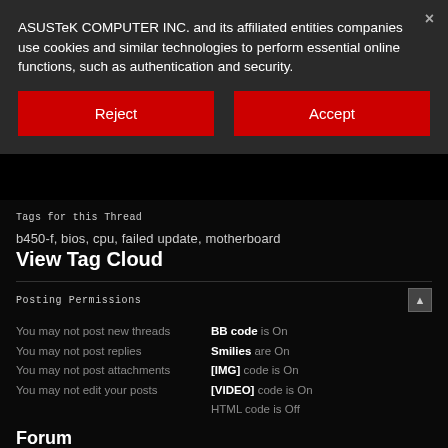ASUSTeK COMPUTER INC. and its affiliated entities companies use cookies and similar technologies to perform essential online functions, such as authentication and security.
[Figure (screenshot): Reject button (red)]
[Figure (screenshot): Accept button (red)]
Tags for this Thread
b450-f, bios, cpu, failed update, motherboard
View Tag Cloud
Posting Permissions
You may not post new threads
You may not post replies
You may not post attachments
You may not edit your posts
BB code is On
Smilies are On
[IMG] code is On
[VIDEO] code is On
HTML code is Off
Forum